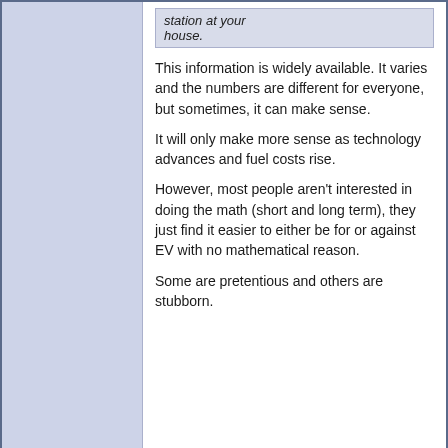station at your house.
This information is widely available. It varies and the numbers are different for everyone, but sometimes, it can make sense.
It will only make more sense as technology advances and fuel costs rise.
However, most people aren't interested in doing the math (short and long term), they just find it easier to either be for or against EV with no mathematical reason.
Some are pretentious and others are stubborn.
03-11-2022, 05:08 PM  #99
FlyingScot
Senior Member
Quote: